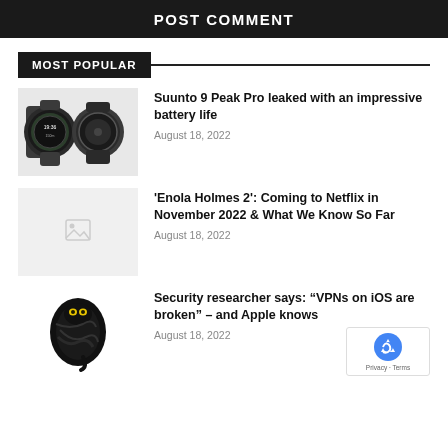POST COMMENT
MOST POPULAR
[Figure (photo): Two Suunto 9 Peak Pro smartwatches shown from front and side, dark green/black color]
Suunto 9 Peak Pro leaked with an impressive battery life
August 18, 2022
[Figure (photo): Light gray placeholder image with small image icon]
'Enola Holmes 2': Coming to Netflix in November 2022 & What We Know So Far
August 18, 2022
[Figure (logo): Black snake/tornado logo illustration with yellow eyes]
Security researcher says: “VPNs on iOS are broken” – and Apple knows
August 18, 2022